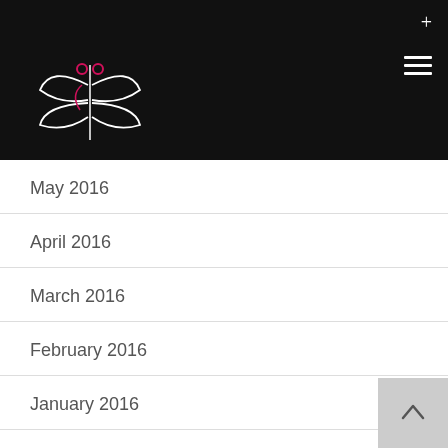[Figure (logo): Dragonfly logo in white and pink on black background]
May 2016
April 2016
March 2016
February 2016
January 2016
December 2015
April 2015
February 2015